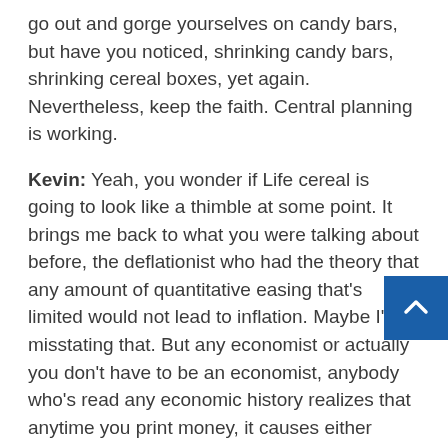go out and gorge yourselves on candy bars, but have you noticed, shrinking candy bars, shrinking cereal boxes, yet again. Nevertheless, keep the faith. Central planning is working.
Kevin: Yeah, you wonder if Life cereal is going to look like a thimble at some point. It brings me back to what you were talking about before, the deflationist who had the theory that any amount of quantitative easing that's limited would not lead to inflation. Maybe I'm misstating that. But any economist or actually you don't have to be an economist, anybody who's read any economic history realizes that anytime you print money, it causes either shrinking cereal boxes like you're talking about, or inflation for the same amount of goods or services.